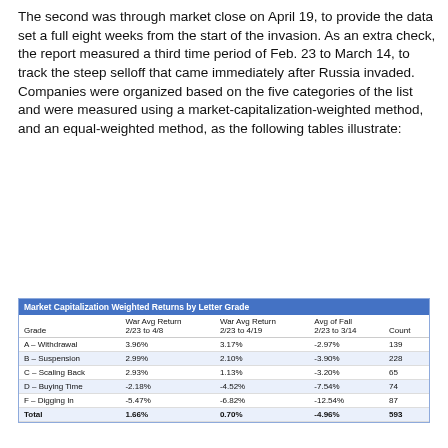The second was through market close on April 19, to provide the data set a full eight weeks from the start of the invasion. As an extra check, the report measured a third time period of Feb. 23 to March 14, to track the steep selloff that came immediately after Russia invaded. Companies were organized based on the five categories of the list and were measured using a market-capitalization-weighted method, and an equal-weighted method, as the following tables illustrate:
| Grade | War Avg Return 2/23 to 4/8 | War Avg Return 2/23 to 4/19 | Avg of Fall 2/23 to 3/14 | Count |
| --- | --- | --- | --- | --- |
| A – Withdrawal | 3.96% | 3.17% | -2.97% | 139 |
| B – Suspension | 2.99% | 2.10% | -3.90% | 228 |
| C – Scaling Back | 2.93% | 1.13% | -3.20% | 65 |
| D – Buying Time | -2.18% | -4.52% | -7.54% | 74 |
| F – Digging In | -5.47% | -6.82% | -12.54% | 87 |
| Total | 1.66% | 0.70% | -4.96% | 593 |